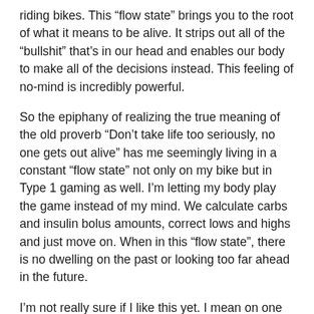riding bikes. This “flow state” brings you to the root of what it means to be alive. It strips out all of the “bullshit” that’s in our head and enables our body to make all of the decisions instead. This feeling of no-mind is incredibly powerful.
So the epiphany of realizing the true meaning of the old proverb “Don’t take life too seriously, no one gets out alive” has me seemingly living in a constant “flow state” not only on my bike but in Type 1 gaming as well. I’m letting my body play the game instead of my mind. We calculate carbs and insulin bolus amounts, correct lows and highs and just move on. When in this “flow state”, there is no dwelling on the past or looking too far ahead in the future.
I’m not really sure if I like this yet. I mean on one hand it’s the closest that I’ve been to really living in the NOW I guess, but on the other hand, during our last Diabetes clinic appointment, we were told that Adele’s A1C was great but... she was having too many lows. We were just dealing with them and moving on without analyzing why and attempting to make the appropriate corrective changes.